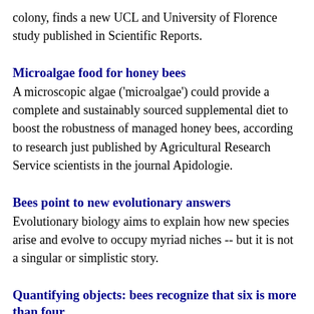colony, finds a new UCL and University of Florence study published in Scientific Reports.
Microalgae food for honey bees
A microscopic algae ('microalgae') could provide a complete and sustainably sourced supplemental diet to boost the robustness of managed honey bees, according to research just published by Agricultural Research Service scientists in the journal Apidologie.
Bees point to new evolutionary answers
Evolutionary biology aims to explain how new species arise and evolve to occupy myriad niches -- but it is not a singular or simplistic story.
Quantifying objects: bees recognize that six is more than four
A new study at the University of Cologne proves that insects